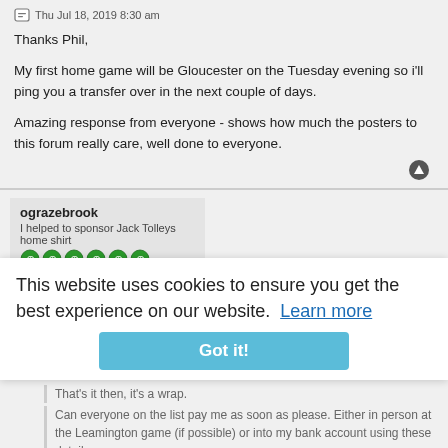Thu Jul 18, 2019 8:30 am
Thanks Phil,
My first home game will be Gloucester on the Tuesday evening so i'll ping you a transfer over in the next couple of days.
Amazing response from everyone - shows how much the posters to this forum really care, well done to everyone.
ograzebrook
I helped to sponsor Jack Tolleys home shirt
In the Boardroom
Re: Milan Butterfield sponsorship
Thu Jul 18, 2019 11:48 am
This website uses cookies to ensure you get the best experience on our website. Learn more
Got it!
Phil wrote:
That's it then, it's a wrap.
Can everyone on the list pay me as soon as please. Either in person at the Leamington game (if possible) or into my bank account using these details: